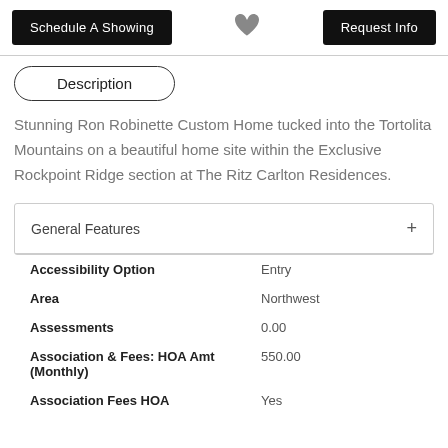[Figure (screenshot): Top action bar with Schedule A Showing button, heart/favorite icon, and Request Info button]
Description
Stunning Ron Robinette Custom Home tucked into the Tortolita Mountains on a beautiful home site within the Exclusive Rockpoint Ridge section at The Ritz Carlton Residences.
General Features
| Feature | Value |
| --- | --- |
| Accessibility Option | Entry |
| Area | Northwest |
| Assessments | 0.00 |
| Association & Fees: HOA Amt (Monthly) | 550.00 |
| Association Fees HOA | Yes |